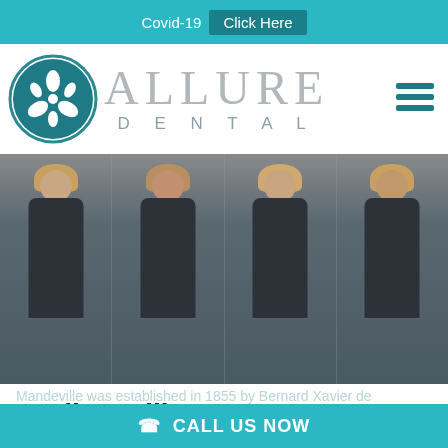Covid-19   Click Here
[Figure (logo): Allure Dental logo with teal circular emblem and 'ALLURE DENTAL' wordmark, plus hamburger menu icon on right]
[Figure (photo): Group photo of dental staff wearing dark navy jackets, multiple panels side by side]
Madisonville
Madisonville is located to the west of Mandeville and located right on the Tchefuncte River. It has a population of 748 as of the 2010 census. Located right on the Tchefuncte River.
Mandeville was established in 1855 by Bernard Xavier de
CALL US NOW